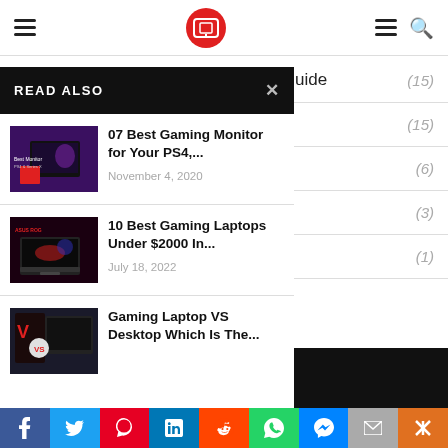Navigation bar with hamburger menu, logo, and search icon
> Guide (15)
READ ALSO
[Figure (photo): Gaming monitor thumbnail for PS4 article]
07 Best Gaming Monitor for Your PS4,... — November 4, 2020
[Figure (photo): Gaming laptop thumbnail for laptops under $2000 article]
10 Best Gaming Laptops Under $2000 In... — July 18, 2022
[Figure (photo): Gaming laptop vs desktop thumbnail]
Gaming Laptop VS Desktop Which Is The...
Social share bar: Facebook, Twitter, Pinterest, LinkedIn, Reddit, WhatsApp, Messenger, Email, More